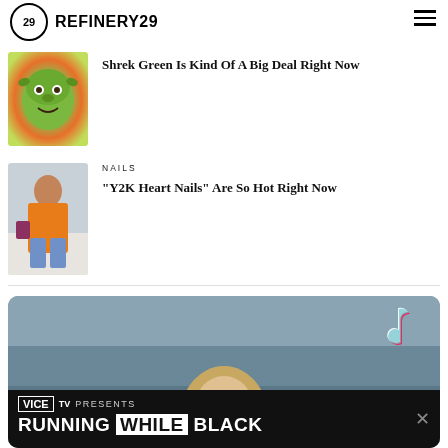REFINERY29
[Figure (photo): Shrek face with colorful background]
Shrek Green Is Kind Of A Big Deal Right Now
[Figure (photo): Woman wearing orange top with blue skirt]
NAILS
“Y2K Heart Nails” Are So Hot Right Now
[Figure (screenshot): TikTok video screenshot of blonde person, with VICE TV ad banner at bottom reading RUNNING WHILE BLACK]